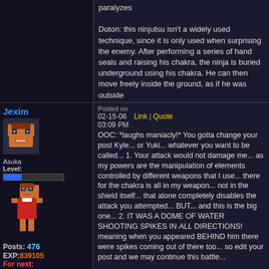paralyzes

Doton: this ninjutsu isn't a widely used technique, since it is only used when surprising the enemy. After performing a series of hand seals and raising his chakra, the ninja is buried underground using his chakra. He can then move freely inside the ground, as if he was outside
Jexim
Asuka
Level:
Posts: 476
EXP:839105
For next:
Since: 10-07-04
From: California
Since last post: 5641 days
Last activity: 5518 days
no user specified
Posted on
02-15-06   Link | Quote
03:09 PM
OOC: *laughs maniacly!* You gotta change your post Kyle... or Yuki... whatever you want to be called... 1. Your attack would not damage me... as my powers are the manipulation of elements controlled by different weapons that I use... there for the chakra is all in my weapon... not in the shield itself... that alone completely disables the attack you attempted... BUT... and this is the big one... 2. IT WAS A DOME OF WATER SHOOTING SPIKES IN ALL DIRECTIONS! meaning when you appeared BEHIND him there were spikes coming out of there too... so edit your post and we may continue this battle...
Darkness
Posted on
04-03-06   Link | Quote